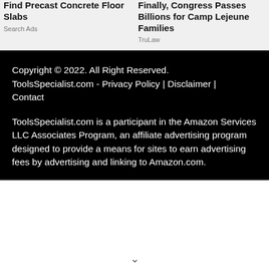Find Precast Concrete Floor Slabs
Search Ads
Finally, Congress Passes Billions for Camp Lejeune Families
TruLaw
Copyright © 2022. All Right Reserved. ToolsSpecialist.com - Privacy Policy | Disclaimer | Contact
ToolsSpecialist.com is a participant in the Amazon Services LLC Associates Program, an affiliate advertising program designed to provide a means for sites to earn advertising fees by advertising and linking to Amazon.com.